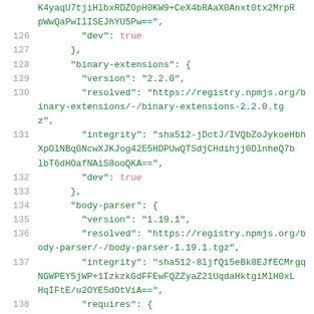Source code / JSON lock file excerpt showing lines 126-139 of a package-lock.json file with binary-extensions and body-parser entries.